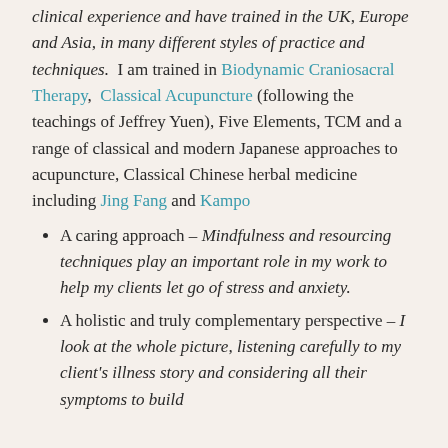clinical experience and have trained in the UK, Europe and Asia, in many different styles of practice and techniques.  I am trained in Biodynamic Craniosacral Therapy,  Classical Acupuncture (following the teachings of Jeffrey Yuen), Five Elements, TCM and a range of classical and modern Japanese approaches to acupuncture, Classical Chinese herbal medicine including Jing Fang and Kampo
A caring approach – Mindfulness and resourcing techniques play an important role in my work to help my clients let go of stress and anxiety.
A holistic and truly complementary perspective – I look at the whole picture, listening carefully to my client's illness story and considering all their symptoms to build